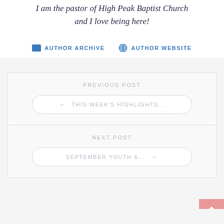I am the pastor of High Peak Baptist Church and I love being here!
AUTHOR ARCHIVE   AUTHOR WEBSITE
PREVIOUS POST
← THIS WEEK'S HIGHLIGHTS...
NEXT POST
SEPTEMBER YOUTH &... →